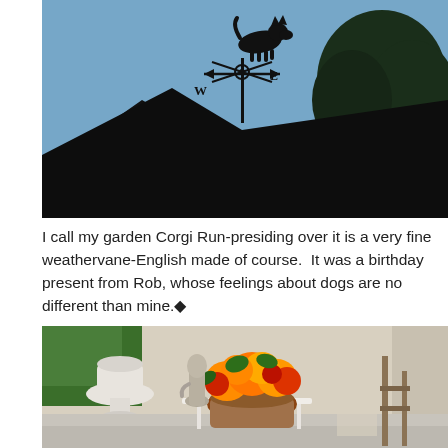[Figure (photo): Silhouette of a dog-shaped weathervane (Corgi) with compass directions W and E visible, mounted on a rooftop peak. Blue sky background with dark tree silhouettes in the upper right.]
I call my garden Corgi Run-presiding over it is a very fine weathervane-English made of course.  It was a birthday present from Rob, whose feelings about dogs are no different than mine.◆
[Figure (photo): Garden scene with colorful orange and red flowers in a basket on a white table, a white stone urn planter, a stone garden statue, and wooden furniture visible in the background.]